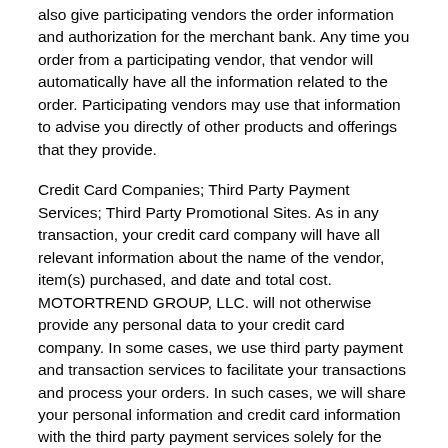also give participating vendors the order information and authorization for the merchant bank. Any time you order from a participating vendor, that vendor will automatically have all the information related to the order. Participating vendors may use that information to advise you directly of other products and offerings that they provide.
Credit Card Companies; Third Party Payment Services; Third Party Promotional Sites. As in any transaction, your credit card company will have all relevant information about the name of the vendor, item(s) purchased, and date and total cost. MOTORTREND GROUP, LLC. will not otherwise provide any personal data to your credit card company. In some cases, we use third party payment and transaction services to facilitate your transactions and process your orders. In such cases, we will share your personal information and credit card information with the third party payment services solely for the purpose of completing the transaction or processing your order. In some cases, we will share your personal information and credit card information with third parties who may offer you a gift or promotional offer as a result of your purchase or subscription to a TixOnlineNow.com product or publication.
Fulfillment Partners. Some of our web sites are intended to facilitate transactions between you and a third party. To do so, we collect and share additional personal information, like credit information, so such